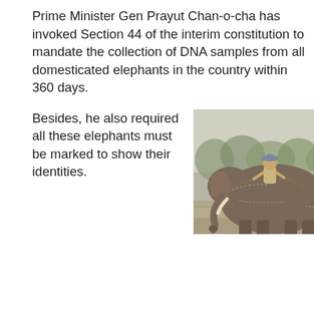Prime Minister Gen Prayut Chan-o-cha has invoked Section 44 of the interim constitution to mandate the collection of DNA samples from all domesticated elephants in the country within 360 days.
Besides, he also required all these elephants must be marked to show their identities.
[Figure (photo): A man (mahout) wearing a hat rides on top of a large domesticated elephant, which is fitted with chains. The scene is outdoors with trees in the background.]